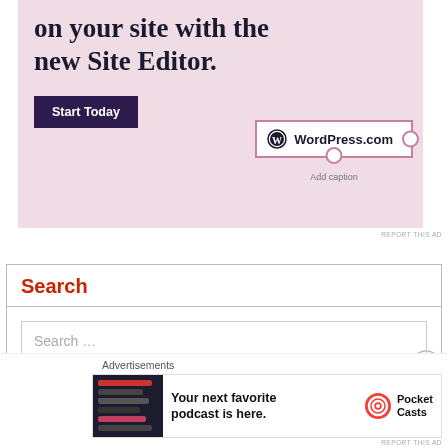[Figure (screenshot): WordPress.com advertisement banner with pink background showing text 'on your site with the new Site Editor.' with a dark purple 'Start Today' button and WordPress.com badge with pink border]
REPORT THIS AD
Search
Search …
Search
[Figure (screenshot): Pocket Casts advertisement banner: 'Your next favorite podcast is here.' with Pocket Casts logo on dark app screenshot background]